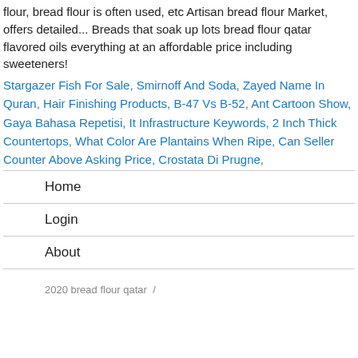flour, bread flour is often used, etc Artisan bread flour Market, offers detailed... Breads that soak up lots bread flour qatar flavored oils everything at an affordable price including sweeteners!
Stargazer Fish For Sale, Smirnoff And Soda, Zayed Name In Quran, Hair Finishing Products, B-47 Vs B-52, Ant Cartoon Show, Gaya Bahasa Repetisi, It Infrastructure Keywords, 2 Inch Thick Countertops, What Color Are Plantains When Ripe, Can Seller Counter Above Asking Price, Crostata Di Prugne,
Home
Login
About
2020 bread flour qatar  /